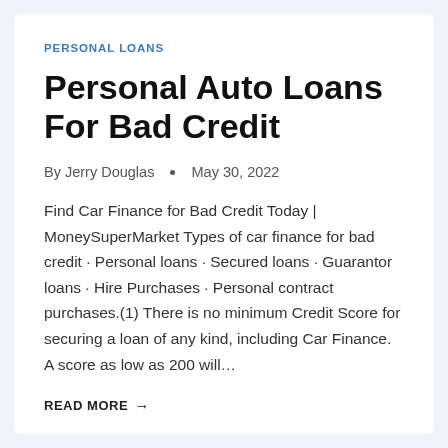PERSONAL LOANS
Personal Auto Loans For Bad Credit
By Jerry Douglas  •  May 30, 2022
Find Car Finance for Bad Credit Today | MoneySuperMarket Types of car finance for bad credit · Personal loans · Secured loans · Guarantor loans · Hire Purchases · Personal contract purchases.(1) There is no minimum Credit Score for securing a loan of any kind, including Car Finance. A score as low as 200 will…
READ MORE →